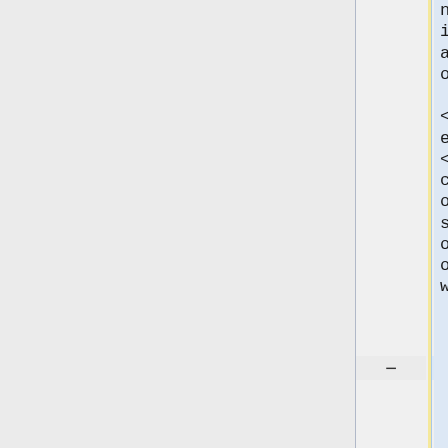nage controlvm archiveteam-warrior-3.2 acpipowerbutton</code>. Substituting <code>suspend</code> or <code>resume</code> for <code>acpipowerbutton</code> suspends or resumes the VM. For more information, consult [http://www...